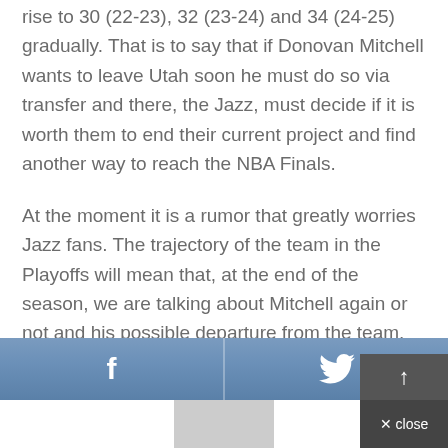rise to 30 (22-23), 32 (23-24) and 34 (24-25) gradually. That is to say that if Donovan Mitchell wants to leave Utah soon he must do so via transfer and there, the Jazz, must decide if it is worth them to end their current project and find another way to reach the NBA Finals.
At the moment it is a rumor that greatly worries Jazz fans. The trajectory of the team in the Playoffs will mean that, at the end of the season, we are talking about Mitchell again or not and his possible departure from the team.
[Figure (other): Social sharing bar with Facebook (f) and Twitter (bird) icons, plus a scroll-to-top button and close button]